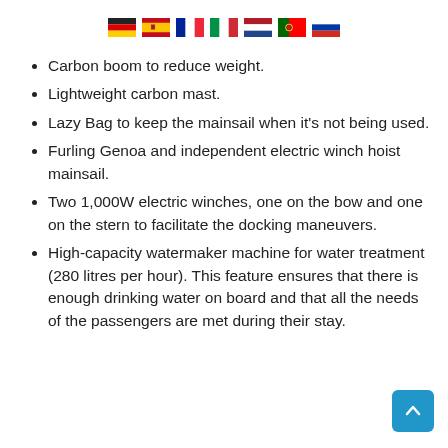[Figure (other): Row of country flag icons: Germany, Spain, France, Italy, Netherlands, Portugal, Russia]
Carbon boom to reduce weight.
Lightweight carbon mast.
Lazy Bag to keep the mainsail when it's not being used.
Furling Genoa and independent electric winch hoist mainsail.
Two 1,000W electric winches, one on the bow and one on the stern to facilitate the docking maneuvers.
High-capacity watermaker machine for water treatment (280 litres per hour). This feature ensures that there is enough drinking water on board and that all the needs of the passengers are met during their stay.